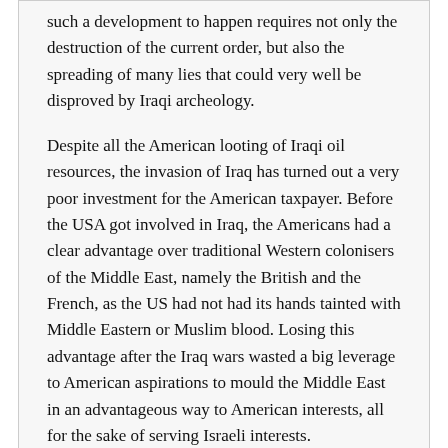such a development to happen requires not only the destruction of the current order, but also the spreading of many lies that could very well be disproved by Iraqi archeology.
Despite all the American looting of Iraqi oil resources, the invasion of Iraq has turned out a very poor investment for the American taxpayer. Before the USA got involved in Iraq, the Americans had a clear advantage over traditional Western colonisers of the Middle East, namely the British and the French, as the US had not had its hands tainted with Middle Eastern or Muslim blood. Losing this advantage after the Iraq wars wasted a big leverage to American aspirations to mould the Middle East in an advantageous way to American interests, all for the sake of serving Israeli interests.
The looting of Iraq's museums/archeology and thus its historical past is an, albeit never mentioned, important point. Globalists